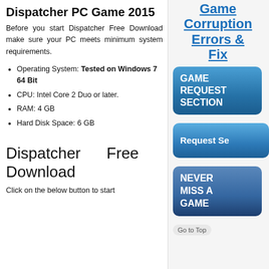Dispatcher PC Game 2015
Before you start Dispatcher Free Download make sure your PC meets minimum system requirements.
Operating System: Tested on Windows 7 64 Bit
CPU: Intel Core 2 Duo or later.
RAM: 4 GB
Hard Disk Space: 6 GB
Dispatcher Free Download
Click on the below button to start
[Figure (other): Link text: Game Corruption Errors & Fix (blue underlined hyperlink)]
[Figure (other): Blue button: GAME REQUEST SECTION]
[Figure (other): Blue button (partial): Request Se[ction]]
[Figure (other): Dark blue button: NEVER MISS A GAME]
Go to Top